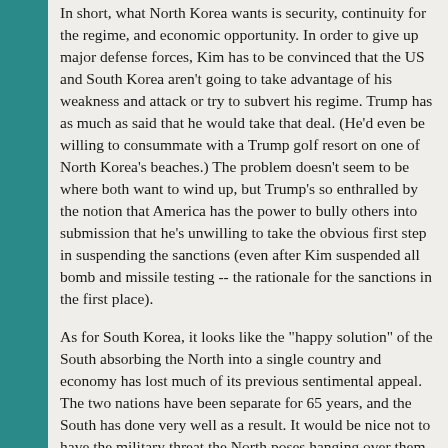In short, what North Korea wants is security, continuity for the regime, and economic opportunity. In order to give up major defense forces, Kim has to be convinced that the US and South Korea aren't going to take advantage of his weakness and attack or try to subvert his regime. Trump has as much as said that he would take that deal. (He'd even be willing to consummate with a Trump golf resort on one of North Korea's beaches.) The problem doesn't seem to be where both want to wind up, but Trump's so enthralled by the notion that America has the power to bully others into submission that he's unwilling to take the obvious first step in suspending the sanctions (even after Kim suspended all bomb and missile testing -- the rationale for the sanctions in the first place).
As for South Korea, it looks like the "happy solution" of the South absorbing the North into a single country and economy has lost much of its previous sentimental appeal. The two nations have been separate for 65 years, and the South has done very well as a result. It would be nice not to have the military threat the North poses hanging over them -- e.g., the thousands of pieces of artillery that could